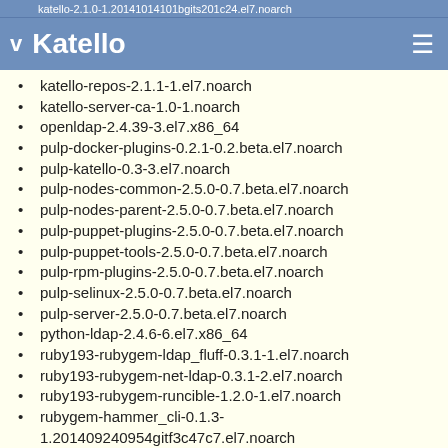katello-2.1.0-1.20141014101bgits201c24.el7.noarch
Katello
katello-repos-2.1.1-1.el7.noarch
katello-server-ca-1.0-1.noarch
openldap-2.4.39-3.el7.x86_64
pulp-docker-plugins-0.2.1-0.2.beta.el7.noarch
pulp-katello-0.3-3.el7.noarch
pulp-nodes-common-2.5.0-0.7.beta.el7.noarch
pulp-nodes-parent-2.5.0-0.7.beta.el7.noarch
pulp-puppet-plugins-2.5.0-0.7.beta.el7.noarch
pulp-puppet-tools-2.5.0-0.7.beta.el7.noarch
pulp-rpm-plugins-2.5.0-0.7.beta.el7.noarch
pulp-selinux-2.5.0-0.7.beta.el7.noarch
pulp-server-2.5.0-0.7.beta.el7.noarch
python-ldap-2.4.6-6.el7.x86_64
ruby193-rubygem-ldap_fluff-0.3.1-1.el7.noarch
ruby193-rubygem-net-ldap-0.3.1-2.el7.noarch
ruby193-rubygem-runcible-1.2.0-1.el7.noarch
rubygem-hammer_cli-0.1.3-1.201409240954gitf3c47c7.el7.noarch
rubygem-hammer_cli_foreman-0.1.3-1.201409191432gitc38f9c8.el7.noarch
rubygem-hammer_cli_foreman_tasks-0.0.3-2.201409091410git163c264.git.0.988ca80.el7.noarch
rubygem-hammer_cli_import-0.10.4-1.el7.noarch
rubygem-hammer_cli_katello-0.0.6-